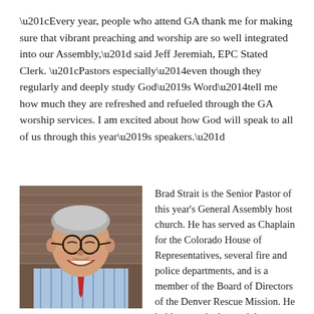“Every year, people who attend GA thank me for making sure that vibrant preaching and worship are so well integrated into our Assembly,” said Jeff Jeremiah, EPC Stated Clerk. “Pastors especially—even though they regularly and deeply study God’s Word—tell me how much they are refreshed and refueled through the GA worship services. I am excited about how God will speak to all of us through this year’s speakers.”
[Figure (photo): Headshot of a smiling middle-aged man with grey hair and glasses, wearing a light blue striped dress shirt and red tie, photographed outdoors in front of a brick wall.]
Brad Strait is the Senior Pastor of this year’s General Assembly host church. He has served as Chaplain for the Colorado House of Representatives, several fire and police departments, and is a member of the Board of Directors of the Denver Rescue Mission. He holds several advanced degrees